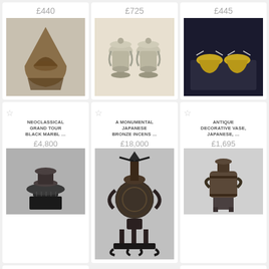[Figure (photo): Neoclassical Grand Tour black marble bronze wall bracket, decorative fan/shell shape]
£440
NEOCLASSICAL GRAND TOUR BLACK MARBL …
£4,800
[Figure (photo): Victorian holy water stoup with pedestal, black marble and bronze]
VICTORIAN HOLY WATER STOUP WITH A H …
[Figure (photo): A Monumental Japanese Bronze Incense Burner with eagle on top]
£725
A MONUMENTAL JAPANESE BRONZE INCENS …
£18,000
[Figure (photo): Pair of silver lidded urns/trophies on pedestals]
£445
ANTIQUE DECORATIVE VASE, JAPANESE, …
£1,695
[Figure (photo): Antique Japanese decorative vase on feet]
PAIR OF GEORGE III CRESTED SHELL SA …
£850
[Figure (photo): Pair of George III crested shell salt cellars on blue velvet tray]
[Figure (photo): Partial bottom image]